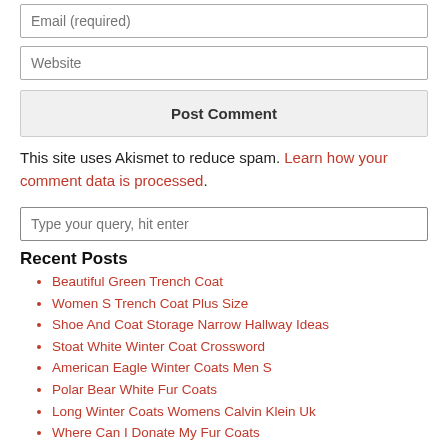Email (required)
Website
Post Comment
This site uses Akismet to reduce spam. Learn how your comment data is processed.
Type your query, hit enter
Recent Posts
Beautiful Green Trench Coat
Women S Trench Coat Plus Size
Shoe And Coat Storage Narrow Hallway Ideas
Stoat White Winter Coat Crossword
American Eagle Winter Coats Men S
Polar Bear White Fur Coats
Long Winter Coats Womens Calvin Klein Uk
Where Can I Donate My Fur Coats
Fur Collar Coat Womens Zara
Fur Coat Costume Mens